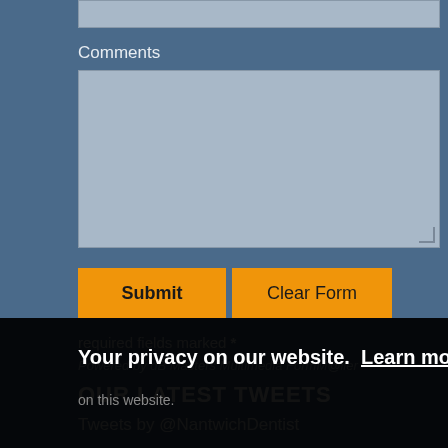[Figure (screenshot): Top portion of a web form input bar (truncated at top of page)]
Comments
[Figure (screenshot): Large grey textarea input field for comments]
[Figure (screenshot): Submit button (orange) and Clear Form button (orange)]
required fields marked *
Powered by dB Masters Multimedia FormM@iler
OUR LATEST TWEETS
Tweets by @NantwichDentist
Your privacy on our website.  Learn more
& Cookies
on this website.
Got it!